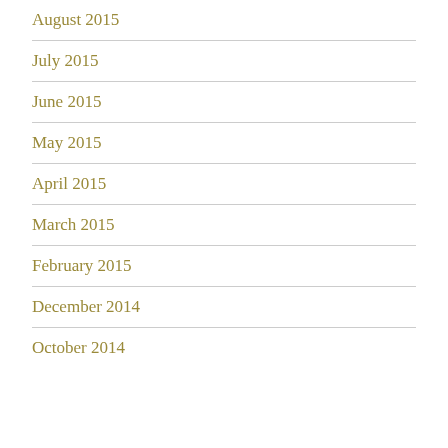August 2015
July 2015
June 2015
May 2015
April 2015
March 2015
February 2015
December 2014
October 2014